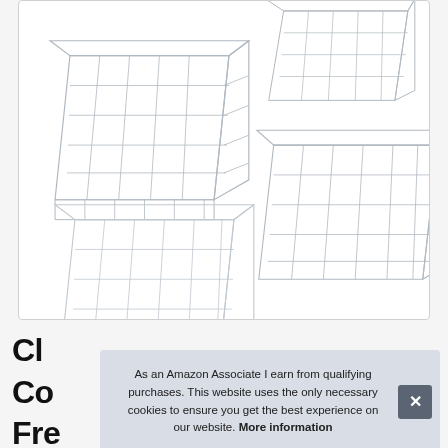[Figure (photo): Product image showing four white wire storage baskets arranged in a 2x2 grid on a white background, inside a rounded-corner bordered box.]
Cl
Co
Fre
As an Amazon Associate I earn from qualifying purchases. This website uses the only necessary cookies to ensure you get the best experience on our website. More information